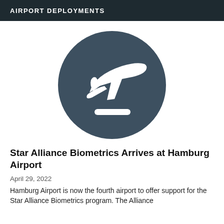AIRPORT DEPLOYMENTS
[Figure (illustration): Dark circular icon with a white airplane/flight silhouette taking off and a white horizontal bar beneath it, representing airport or flight departures.]
Star Alliance Biometrics Arrives at Hamburg Airport
April 29, 2022
Hamburg Airport is now the fourth airport to offer support for the Star Alliance Biometrics program. The Alliance